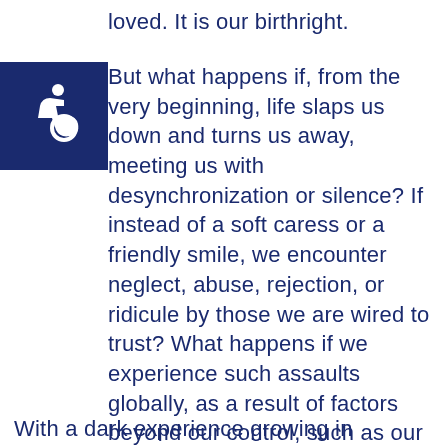loved. It is our birthright.
[Figure (illustration): Accessibility icon: white wheelchair symbol on dark blue square background]
But what happens if, from the very beginning, life slaps us down and turns us away, meeting us with desynchronization or silence? If instead of a soft caress or a friendly smile, we encounter neglect, abuse, rejection, or ridicule by those we are wired to trust? What happens if we experience such assaults globally, as a result of factors beyond our control, such as our race, ethnicity, class, gender, or sexual orientation? The implications are staggering.
With a dark experience growing in...